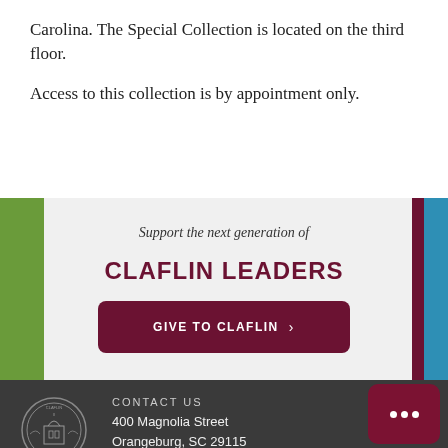Carolina. The Special Collection is located on the third floor.
Access to this collection is by appointment only.
[Figure (infographic): Donation banner with colored vertical side bars (green left, blue and maroon right), italic subtitle 'Support the next generation of', bold maroon heading 'CLAFLIN LEADERS', and a dark maroon 'GIVE TO CLAFLIN >' button.]
CONTACT US
400 Magnolia Street
Orangeburg, SC 29115
[Figure (logo): Claflin University circular seal/logo in gray on dark background]
[Figure (other): Chat widget icon with three dots on dark maroon background]